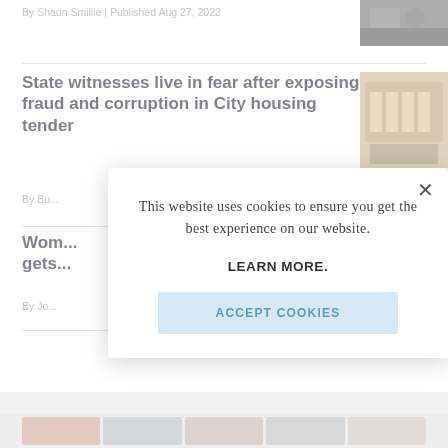By Shaun Smillie | Published Aug 27, 2022
[Figure (photo): Dark water or animal photo thumbnail]
State witnesses live in fear after exposing fraud and corruption in City housing tender
[Figure (photo): Building with people standing outside thumbnail]
By Bu...
Won... gets...
By Jo...
[Figure (screenshot): Cookie consent modal overlay with text: This website uses cookies to ensure you get the best experience on our website. LEARN MORE. ACCEPT COOKIES button.]